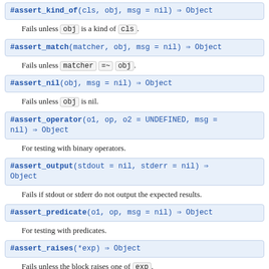#assert_kind_of(cls, obj, msg = nil) ⇒ Object
Fails unless obj is a kind of cls.
#assert_match(matcher, obj, msg = nil) ⇒ Object
Fails unless matcher =~ obj.
#assert_nil(obj, msg = nil) ⇒ Object
Fails unless obj is nil.
#assert_operator(o1, op, o2 = UNDEFINED, msg = nil) ⇒ Object
For testing with binary operators.
#assert_output(stdout = nil, stderr = nil) ⇒ Object
Fails if stdout or stderr do not output the expected results.
#assert_predicate(o1, op, msg = nil) ⇒ Object
For testing with predicates.
#assert_raises(*exp) ⇒ Object
Fails unless the block raises one of exp.